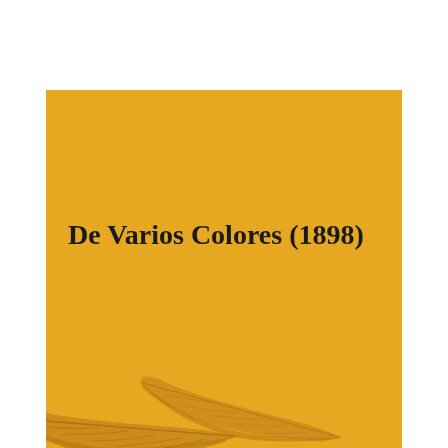[Figure (illustration): Book cover with golden/amber yellow background featuring two decorative quill feathers in a slightly darker golden tone in the lower portion of the cover]
De Varios Colores (1898)